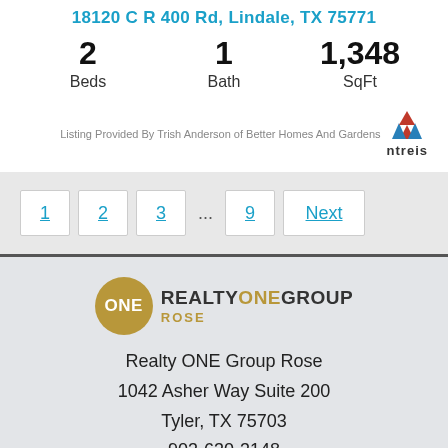18120 C R 400 Rd, Lindale, TX 75771
2 Beds | 1 Bath | 1,348 SqFt
Listing Provided By Trish Anderson of Better Homes And Gardens ntreis
1  2  3  ...  9  Next
[Figure (logo): Realty ONE Group Rose logo with gold circle and text]
Realty ONE Group Rose
1042 Asher Way Suite 200
Tyler, TX 75703
903-630-3148
[Figure (logo): Small bird/social media icon at bottom]